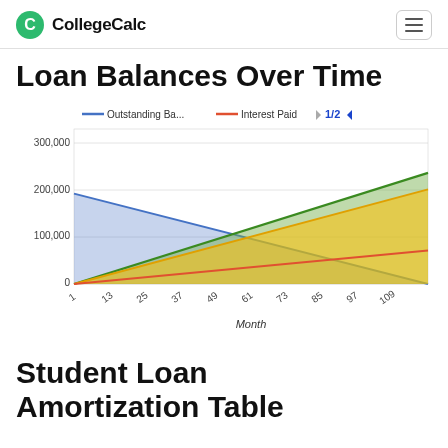CollegeCalc
Loan Balances Over Time
[Figure (line-chart): Line/area chart showing loan balances over time. Blue area descends from ~175,000 to 0. Green area ascends to ~215,000. Yellow area ascends to ~183,000. Red line ascends slightly to ~65,000. Legend shows Outstanding Balance (blue) and Interest Paid (red). Page indicator 1/2 with arrows.]
Student Loan Amortization Table